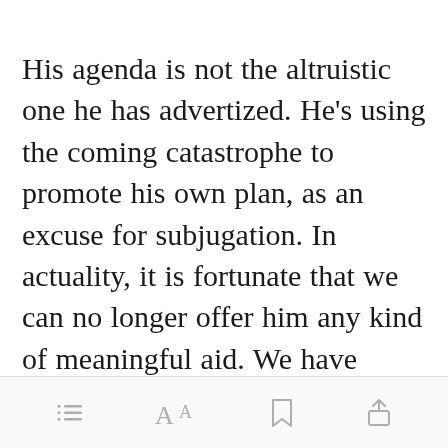His agenda is not the altruistic one he has advertized. He's using the coming catastrophe to promote his own plan, as an excuse for subjugation. In actuality, it is fortunate that we can no longer offer him any kind of meaningful aid. We have recognized that we need to distance ourselves from the overbearing benevolence of his predatory cam[Open in app]
[toolbar icons: list, text size, bookmark, share]